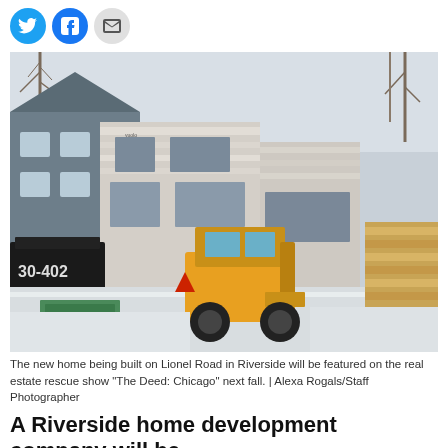[Figure (photo): Social media sharing icons: Twitter (blue circle), Facebook (blue circle), Email (grey circle)]
[Figure (photo): Construction site photo showing a new home being built on Lionel Road in Riverside. A yellow skid steer loader is in the center, surrounded by lumber stacks, construction framing with insulation wrap, and a dumpster. Snow is on the ground. Adjacent finished home visible on left.]
The new home being built on Lionel Road in Riverside will be featured on the real estate rescue show "The Deed: Chicago" next fall. | Alexa Rogals/Staff Photographer
A Riverside home development company will be featured on a real estate rescue television show